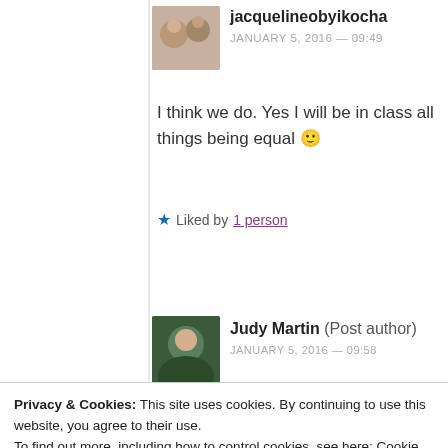jacquelineobyikocha
JANUARY 5, 2016 — 09:49
I think we do. Yes I will be in class all things being equal 🙂
★ Liked by 1 person
Judy Martin (Post author)
JANUARY 5, 2016 — 09:58
Privacy & Cookies: This site uses cookies. By continuing to use this website, you agree to their use.
To find out more, including how to control cookies, see here: Cookie Policy
Close and accept
[Figure (screenshot): Day One app advertisement banner: Your Journal for life]